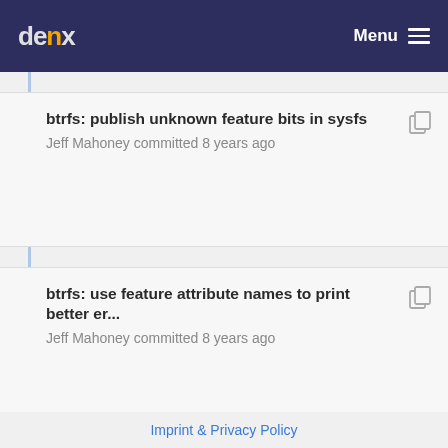denx Menu
btrfs: publish unknown feature bits in sysfs
Jeff Mahoney committed 8 years ago
btrfs: use feature attribute names to print better er...
Jeff Mahoney committed 8 years ago
Imprint & Privacy Policy